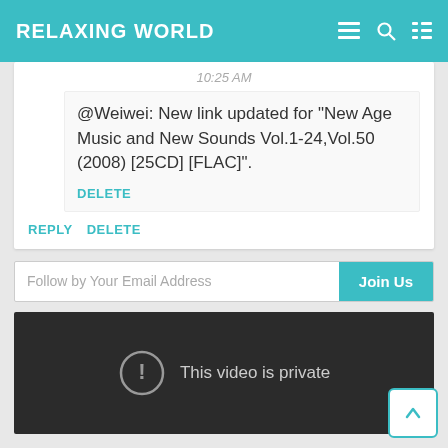RELAXING WORLD
10:25 AM
@Weiwei: New link updated for "New Age Music and New Sounds Vol.1-24,Vol.50 (2008) [25CD] [FLAC]".
DELETE
REPLY   DELETE
Follow by Your Email Address
Join Us
[Figure (screenshot): Dark video player showing 'This video is private' message with a circle exclamation icon]